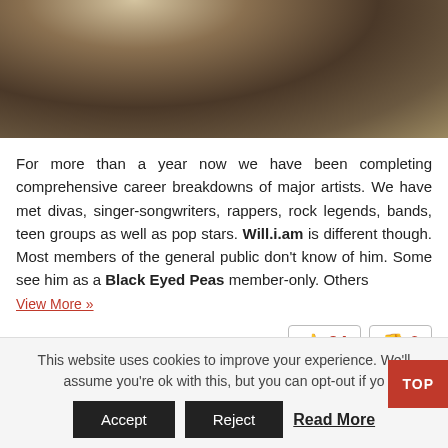[Figure (photo): Photo of a person in a white shirt against a warm brown/golden background, cropped to show upper body]
For more than a year now we have been completing comprehensive career breakdowns of major artists. We have met divas, singer-songwriters, rappers, rock legends, bands, teen groups as well as pop stars. Will.i.am is different though. Most members of the general public don't know of him. Some see him as a Black Eyed Peas member-only. Others
View More »
👍 24   👎 6
Pages: 1 2 3 4 5 6 7 8 9 10 11 12
This website uses cookies to improve your experience. We'll assume you're ok with this, but you can opt-out if yo
Accept   Reject   Read More